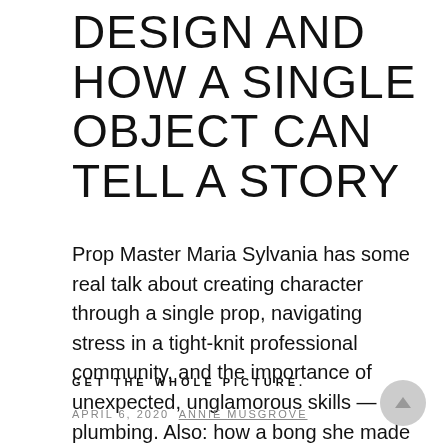DESIGN AND HOW A SINGLE OBJECT CAN TELL A STORY
Prop Master Maria Sylvania has some real talk about creating character through a single prop, navigating stress in a tight-knit professional community, and the importance of unexpected, unglamorous skills — like plumbing. Also: how a bong she made for a set earned her a fan ...
GET THE WHOLE PICTURE.
APRIL 6, 2020  ANNIE MUSGROVE